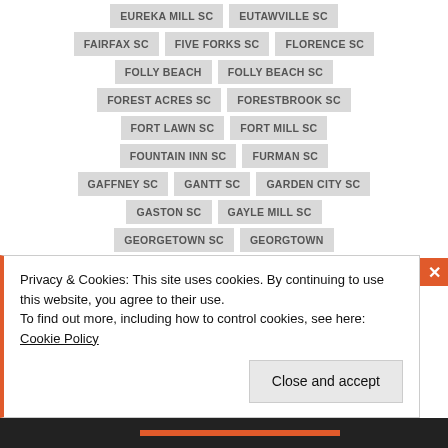EUREKA MILL SC
EUTAWVILLE SC
FAIRFAX SC
FIVE FORKS SC
FLORENCE SC
FOLLY BEACH
FOLLY BEACH SC
FOREST ACRES SC
FORESTBROOK SC
FORT LAWN SC
FORT MILL SC
FOUNTAIN INN SC
FURMAN SC
GAFFNEY SC
GANTT SC
GARDEN CITY SC
GASTON SC
GAYLE MILL SC
GEORGETOWN SC
GEORGTOWN
GIFFORD SC
GILBERT SC
GLOVERVILLE SC
GOLDEN GROVE SC
Privacy & Cookies: This site uses cookies. By continuing to use this website, you agree to their use.
To find out more, including how to control cookies, see here: Cookie Policy
Close and accept